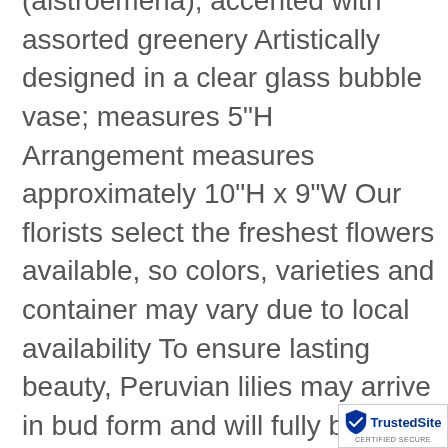(alstroemeria); accented with assorted greenery Artistically designed in a clear glass bubble vase; measures 5"H Arrangement measures approximately 10"H x 9"W Our florists select the freshest flowers available, so colors, varieties and container may vary due to local availability To ensure lasting beauty, Peruvian lilies may arrive in bud form and will fully bloom over the next few days About Our Local Artisan Design Workshop Each year, we bring together a select group of the most talented florists from across the country to create unique product concepts. Selected designs become some of the top products...
[Figure (logo): TrustedSite CERTIFIED SECURE badge in bottom right corner]